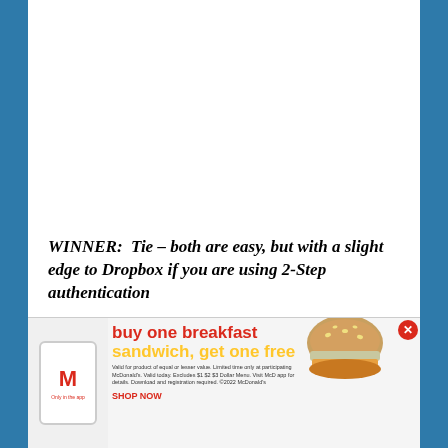WINNER:  Tie – both are easy, but with a slight edge to Dropbox if you are using 2-Step authentication
VIEWING AND ACCESSING YOUR FILES AND FOLDERS:
[Figure (other): McDonald's advertisement banner: 'buy one breakfast sandwich, get one free' promotional ad with food images, McDonald's logo, fine print, and a close button. Only in the app.]